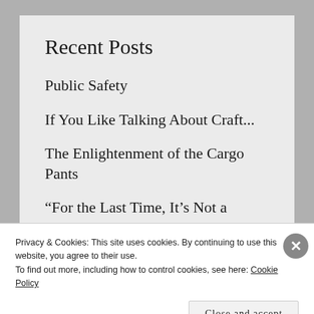Recent Posts
Public Safety
If You Like Talking About Craft…
The Enlightenment of the Cargo Pants
“For the Last Time, It’s Not a Raygun” at the Overcast
Privacy & Cookies: This site uses cookies. By continuing to use this website, you agree to their use.
To find out more, including how to control cookies, see here: Cookie Policy